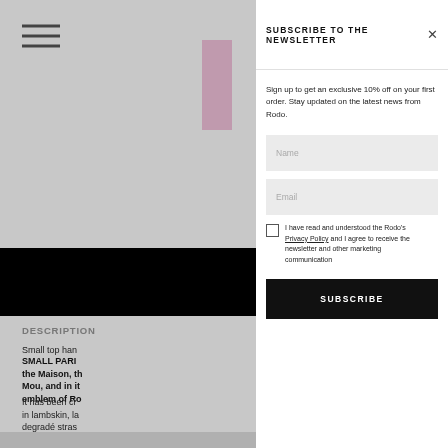[Figure (screenshot): Background website page showing a product page with hamburger menu, pink product image, black banner, and description text, partially obscured by newsletter modal overlay]
SUBSCRIBE TO THE NEWSLETTER
Sign up to get an exclusive 10% off on your first order. Stay updated on the latest news from Rodo.
Name
Email
I have read and understood the Rodo's Privacy Policy and I agree to receive the newsletter and other marketing communication
SUBSCRIBE